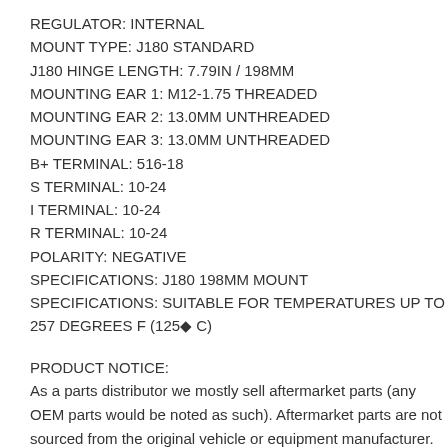REGULATOR: INTERNAL
MOUNT TYPE: J180 STANDARD
J180 HINGE LENGTH: 7.79IN / 198MM
MOUNTING EAR 1: M12-1.75 THREADED
MOUNTING EAR 2: 13.0MM UNTHREADED
MOUNTING EAR 3: 13.0MM UNTHREADED
B+ TERMINAL: 516-18
S TERMINAL: 10-24
I TERMINAL: 10-24
R TERMINAL: 10-24
POLARITY: NEGATIVE
SPECIFICATIONS: J180 198MM MOUNT
SPECIFICATIONS: SUITABLE FOR TEMPERATURES UP TO 257 DEGREES F (125° C)
PRODUCT NOTICE:
As a parts distributor we mostly sell aftermarket parts (any OEM parts would be noted as such). Aftermarket parts are not sourced from the original vehicle or equipment manufacturer.